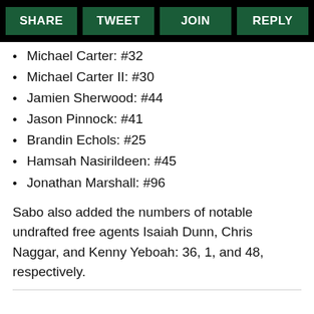SHARE | TWEET | JOIN | REPLY
Michael Carter: #32
Michael Carter II: #30
Jamien Sherwood: #44
Jason Pinnock: #41
Brandin Echols: #25
Hamsah Nasirildeen: #45
Jonathan Marshall: #96
Sabo also added the numbers of notable undrafted free agents Isaiah Dunn, Chris Naggar, and Kenny Yeboah: 36, 1, and 48, respectively.